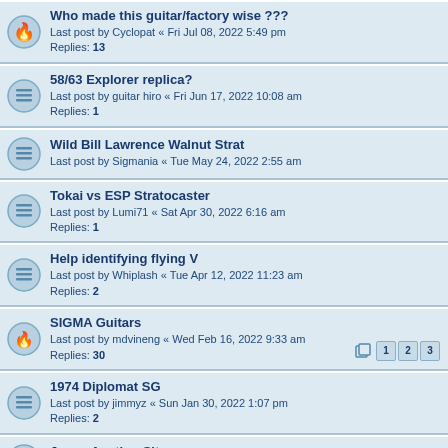Who made this guitar/factory wise ??? Last post by Cyclopat « Fri Jul 08, 2022 5:49 pm Replies: 13
58/63 Explorer replica? Last post by guitar hiro « Fri Jun 17, 2022 10:08 am Replies: 1
Wild Bill Lawrence Walnut Strat Last post by Sigmania « Tue May 24, 2022 2:55 am
Tokai vs ESP Stratocaster Last post by Lumi71 « Sat Apr 30, 2022 6:16 am Replies: 1
Help identifying flying V Last post by Whiplash « Tue Apr 12, 2022 11:23 am Replies: 2
SIGMA Guitars Last post by mdvineng « Wed Feb 16, 2022 9:33 am Replies: 30
1974 Diplomat SG Last post by jimmyz « Sun Jan 30, 2022 1:07 pm Replies: 2
Japan Auction Sites Last post by tommyg « Thu Nov 11, 2021 1:06 am
Identified: Fresher FSV-380 Last post by Sigmania « Thu Sep 30, 2021 6:55 am Replies: 3
Sonix by Deviser LP Sp. (Momose)